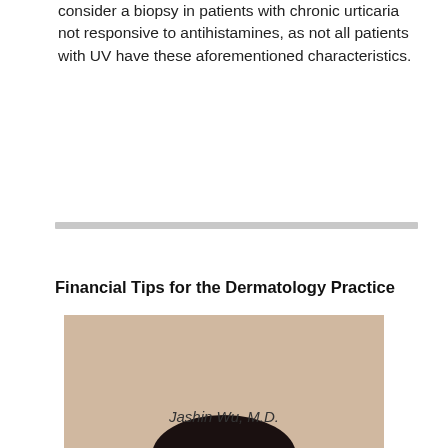consider a biopsy in patients with chronic urticaria not responsive to antihistamines, as not all patients with UV have these aforementioned characteristics.
Financial Tips for the Dermatology Practice
[Figure (photo): Headshot portrait of Jashin Wu, M.D. — a man in a dark suit and white shirt, smiling, against a light background.]
Jashin Wu, M.D.